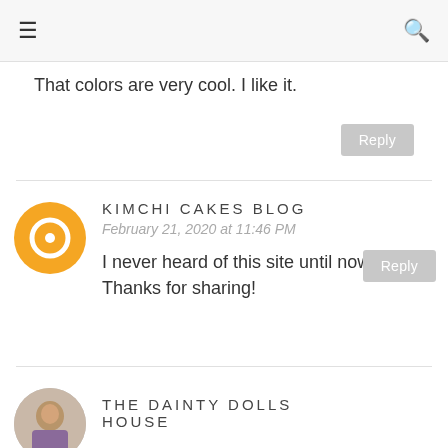≡  🔍
That colors are very cool. I like it.
Reply
KIMCHI CAKES BLOG
February 21, 2020 at 11:46 PM
I never heard of this site until now. Thanks for sharing!
Reply
THE DAINTY DOLLS HOUSE